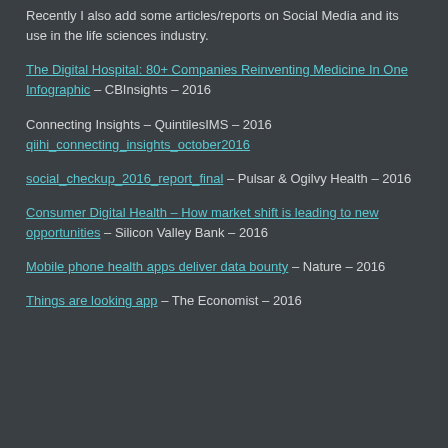Recently I also add some articles/reports on Social Media and its use in the life sciences industry.
The Digital Hospital: 80+ Companies Reinventing Medicine In One Infographic – CBInsights – 2016
Connecting Insights – QuintilesIMS – 2016 qiihi_connecting_insights_october2016
social_checkup_2016_report_final – Pulsar & Ogilvy Health – 2016
Consumer Digital Health – How market shift is leading to new opportunities – Silicon Valley Bank – 2016
Mobile phone health apps deliver data bounty – Nature – 2016
Things are looking app – The Economist – 2016